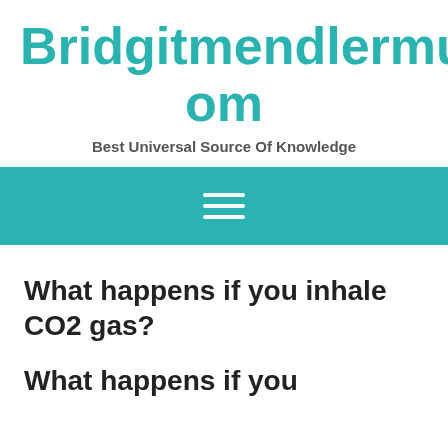Bridgitmendlermusic.Com
Best Universal Source Of Knowledge
[Figure (other): Teal navigation bar with hamburger menu icon (three white horizontal lines)]
What happens if you inhale CO2 gas?
What happens if you